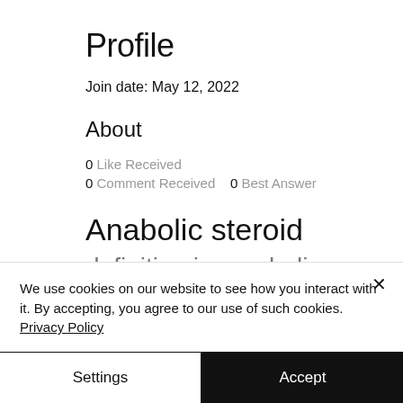Profile
Join date: May 12, 2022
About
0 Like Received
0 Comment Received    0 Best Answer
Anabolic steroid
definition in  anabolic
We use cookies on our website to see how you interact with it. By accepting, you agree to our use of such cookies. Privacy Policy
Settings
Accept